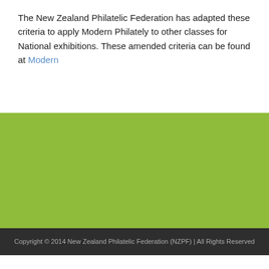The New Zealand Philatelic Federation has adapted these criteria to apply Modern Philately to other classes for National exhibitions. These amended criteria can be found at Modern
[Figure (other): Large green/lime colored background section filling the middle portion of the page]
Copyright © 2014 New Zealand Philatelic Federation (NZPF) | All Rights Reserved